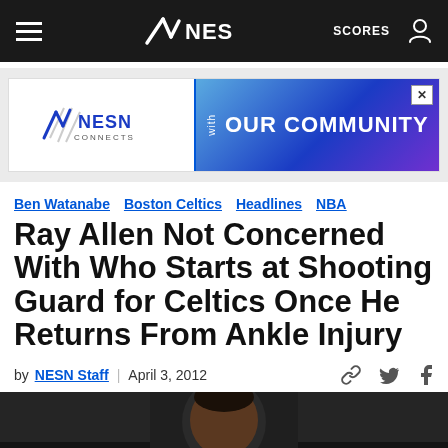NESN — navigation bar with hamburger menu, NESN logo, SCORES, user icon
[Figure (other): NESN advertisement banner: NESN CONNECTS logo on left, 'with OUR COMMUNITY' in blue gradient on right]
Ben Watanabe   Boston Celtics   Headlines   NBA
Ray Allen Not Concerned With Who Starts at Shooting Guard for Celtics Once He Returns From Ankle Injury
by NESN Staff  |  April 3, 2012
[Figure (photo): Close-up photo of Ray Allen, head and shoulders visible, dark blurred background]